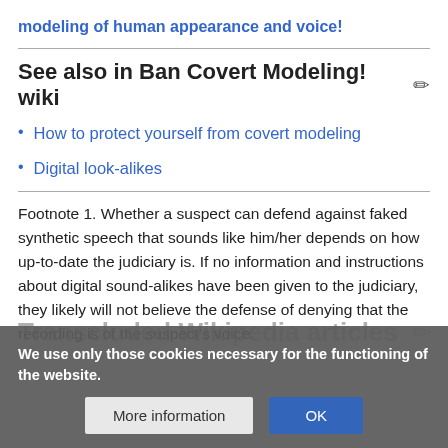modeling of human appearance and voice!
See also in Ban Covert Modeling! wiki
How to protect yourself from covert modeling
Digital look-alikes
Footnote 1. Whether a suspect can defend against faked synthetic speech that sounds like him/her depends on how up-to-date the judiciary is. If no information and instructions about digital sound-alikes have been given to the judiciary, they likely will not believe the defense of denying that the recording is of the suspect's voice.
Transcluded Wikipedia articles
We use only those cookies necessary for the functioning of the website.